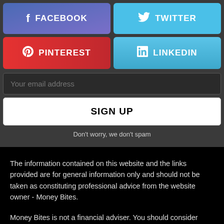[Figure (infographic): Four social media share buttons in a 2x2 grid: Facebook (purple-blue), Twitter (light blue), Pinterest (red), LinkedIn (blue)]
[Figure (infographic): Email input field with placeholder 'Your email address']
SIGN UP
Don't worry, we don't spam
The information contained on this website and the links provided are for general information only and should not be taken as constituting professional advice from the website owner - Money Bites.
Money Bites is not a financial adviser. You should consider seeking independent legal, financial, taxation or other advice to check how the website information relates to your unique circumstances.
Money Bites is not liable for any loss caused whether the loss...